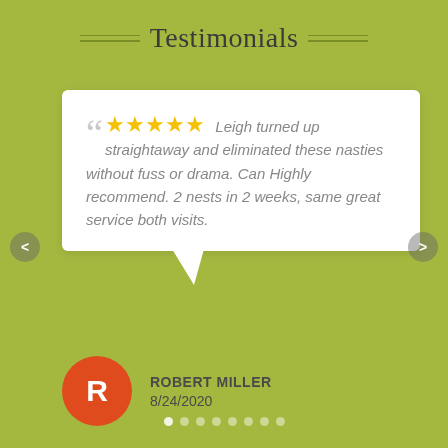Testimonials
Leigh turned up straightaway and eliminated these nasties without fuss or drama. Can Highly recommend. 2 nests in 2 weeks, same great service both visits.
ROBERT MILLER
8/24/2020